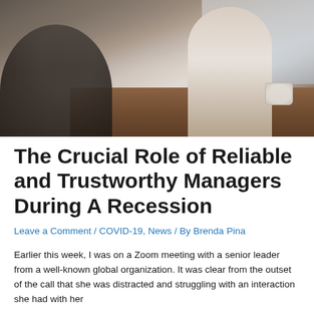[Figure (photo): Two people at a cafe or meeting table — one person in a dark suit seen from behind on the left, a woman in a white blouse on the right with papers/notebook, a coffee cup visible on the wooden table, blurred background with window light.]
The Crucial Role of Reliable and Trustworthy Managers During A Recession
Leave a Comment / COVID-19, News / By Brenda Pina
Earlier this week, I was on a Zoom meeting with a senior leader from a well-known global organization. It was clear from the outset of the call that she was distracted and struggling with an interaction she had with her